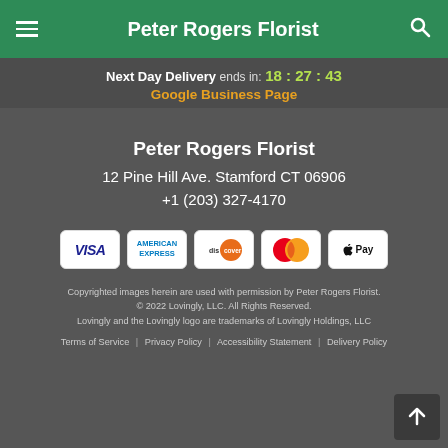Peter Rogers Florist
Next Day Delivery ends in: 18:27:43
Google Business Page
Peter Rogers Florist
12 Pine Hill Ave. Stamford CT 06906
+1 (203) 327-4170
[Figure (other): Payment method icons: VISA, American Express, Discover, Mastercard, Apple Pay]
Copyrighted images herein are used with permission by Peter Rogers Florist.
© 2022 Lovingly, LLC. All Rights Reserved.
Lovingly and the Lovingly logo are trademarks of Lovingly Holdings, LLC
Terms of Service | Privacy Policy | Accessibility Statement | Delivery Policy